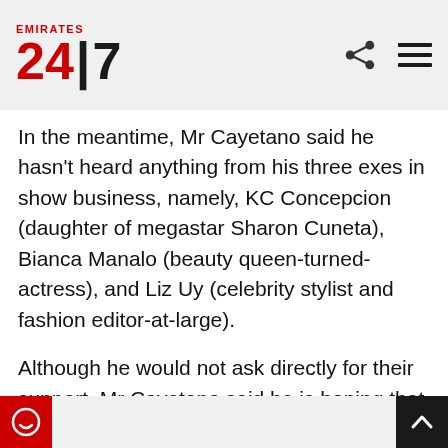EMIRATES 24|7
In the meantime, Mr Cayetano said he hasn’t heard anything from his three exes in show business, namely, KC Concepcion (daughter of megastar Sharon Cuneta), Bianca Manalo (beauty queen-turned-actress), and Liz Uy (celebrity stylist and fashion editor-at-large).
Although he would not ask directly for their support, Mr Cayetano said he is hoping that these beautiful, popular, and talented women would support him as well, stressing that he has remained friends with them after their breakups.